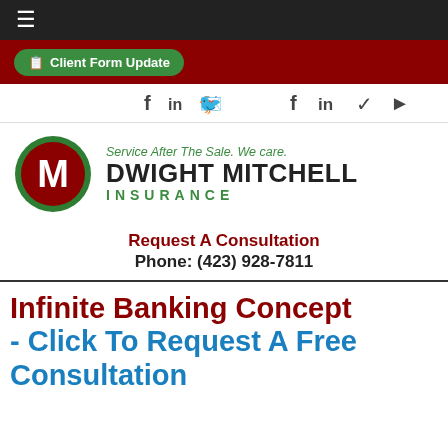☰
Client Form Update
[Figure (logo): Social media icons: Facebook (f), LinkedIn (in), Twitter bird, YouTube play button]
[Figure (logo): Dwight Mitchell Insurance logo — red circle with white M, green border. Tagline: Service After The Sale. We care. Company name: DWIGHT MITCHELL INSURANCE in dark/green]
Request A Consultation
Phone: (423) 928-7811
Infinite Banking Concept - Click To Request A Free Consultation